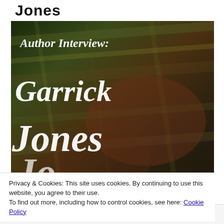Jones
[Figure (illustration): Author Interview: Garrick Jones - decorative book cover style image with script text on a dark textured background with streaks of color]
Privacy & Cookies: This site uses cookies. By continuing to use this website, you agree to their use.
To find out more, including how to control cookies, see here: Cookie Policy
Close and accept
FOLLOW ...